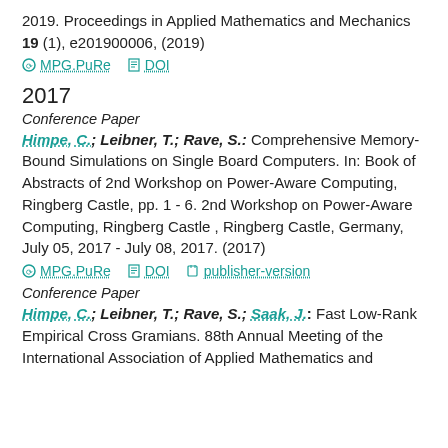2019. Proceedings in Applied Mathematics and Mechanics 19 (1), e201900006, (2019)
MPG.PuRe   DOI
2017
Conference Paper
Himpe, C.; Leibner, T.; Rave, S.: Comprehensive Memory-Bound Simulations on Single Board Computers. In: Book of Abstracts of 2nd Workshop on Power-Aware Computing, Ringberg Castle, pp. 1 - 6. 2nd Workshop on Power-Aware Computing, Ringberg Castle , Ringberg Castle, Germany, July 05, 2017 - July 08, 2017. (2017)
MPG.PuRe   DOI   publisher-version
Conference Paper
Himpe, C.; Leibner, T.; Rave, S.; Saak, J.: Fast Low-Rank Empirical Cross Gramians. 88th Annual Meeting of the International Association of Applied Mathematics and